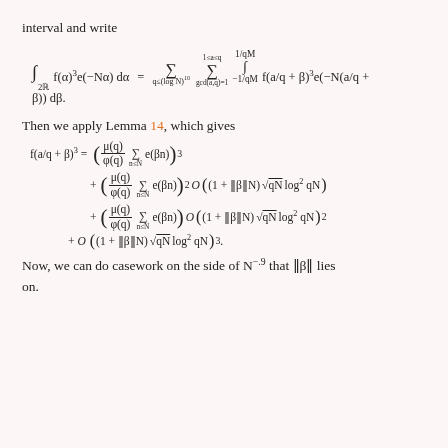interval and write
Then we apply Lemma 14, which gives
Now, we can do casework on the side of N^{-.9} that ||β|| lies on.